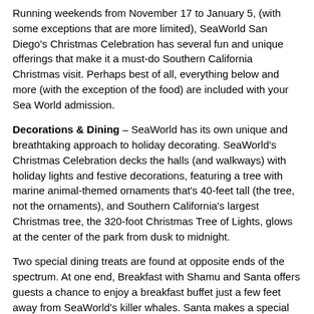Running weekends from November 17 to January 5, (with some exceptions that are more limited), SeaWorld San Diego's Christmas Celebration has several fun and unique offerings that make it a must-do Southern California Christmas visit. Perhaps best of all, everything below and more (with the exception of the food) are included with your Sea World admission.
Decorations & Dining – SeaWorld has its own unique and breathtaking approach to holiday decorating. SeaWorld's Christmas Celebration decks the halls (and walkways) with holiday lights and festive decorations, featuring a tree with marine animal-themed ornaments that's 40-feet tall (the tree, not the ornaments), and Southern California's largest Christmas tree, the 320-foot Christmas Tree of Lights, glows at the center of the park from dusk to midnight.
Two special dining treats are found at opposite ends of the spectrum. At one end, Breakfast with Shamu and Santa offers guests a chance to enjoy a breakfast buffet just a few feet away from SeaWorld's killer whales. Santa makes a special appearance during the event, too! There is an extra cost for this and dates are limited. For reservations, visit www.seaworldsandiego.com.
Another festive holiday food experience that the theme of the...